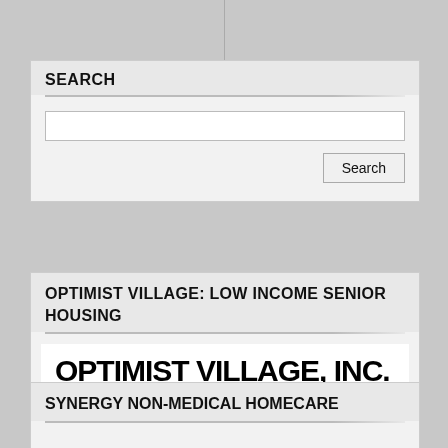SEARCH
[Figure (screenshot): Search input box and Search button]
OPTIMIST VILLAGE: LOW INCOME SENIOR HOUSING
[Figure (logo): Optimist Village, Inc. logo with text 'Apartments for the Elderly and Disabled']
SYNERGY NON-MEDICAL HOMECARE